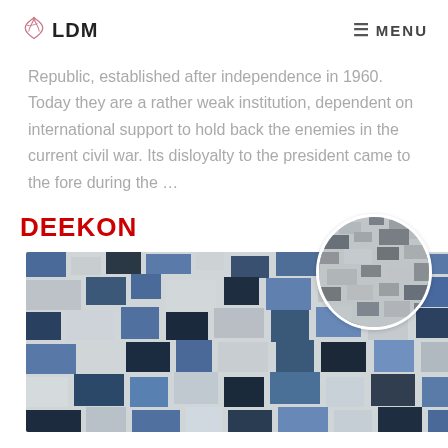LDM  MENU
Republic, established after independence in 1960. Today they are a rather weak institution, dependent on international support to hold back the enemies in the current civil war. Its disloyalty to the president came to the fore during the …
[Figure (photo): DEEKON logo in bold red text with a digital camouflage fabric image showing blue, grey, black and white pixel pattern. A circular inset in the top right shows a close-up of the same camouflage fabric pattern.]